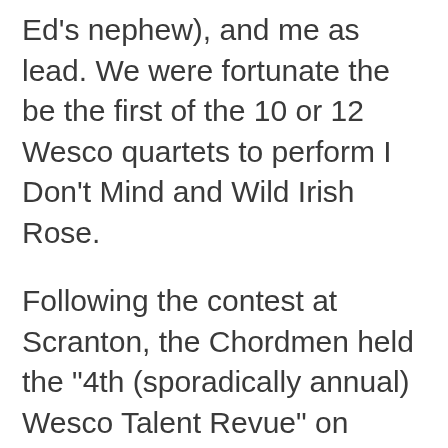Ed's nephew), and me as lead. We were fortunate the be the first of the 10 or 12 Wesco quartets to perform I Don't Mind and Wild Irish Rose.
Following the contest at Scranton, the Chordmen held the "4th (sporadically annual) Wesco Talent Revue" on Monday, May 17, 2010, organized by the very talented Bob Stevenson. To the best of my recollection, some of the highlights were Al Fennell and his son performing on the percussive garbage cans, Ed Kane's fabulous art work, Bill Ferns on the harmonica, and Don Renolish on the dulcimer.